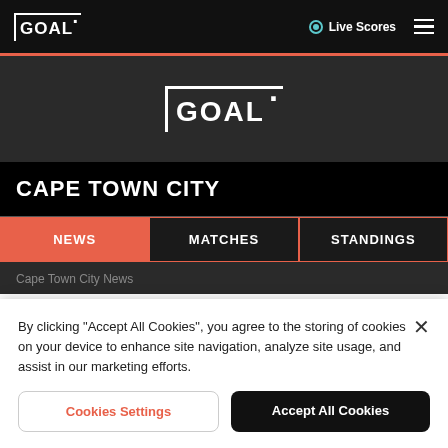GOAL | Live Scores
[Figure (logo): GOAL logo centered on dark background]
CAPE TOWN CITY
NEWS
MATCHES
STANDINGS
Cape Town City News
By clicking "Accept All Cookies", you agree to the storing of cookies on your device to enhance site navigation, analyze site usage, and assist in our marketing efforts.
Cookies Settings
Accept All Cookies